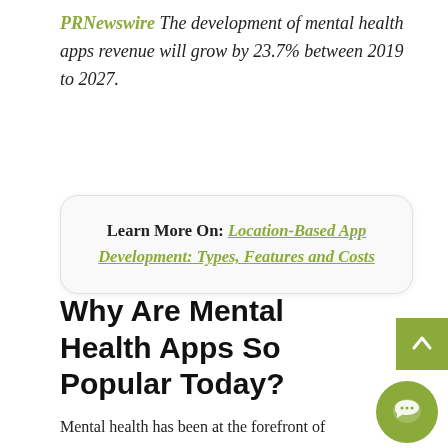PRNewswire The development of mental health apps revenue will grow by 23.7% between 2019 to 2027.
Learn More On: Location-Based App Development: Types, Features and Costs
Why Are Mental Health Apps So Popular Today?
Mental health has been at the forefront of